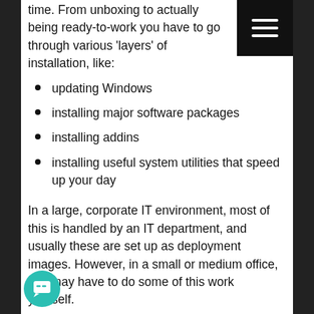time. From unboxing to actually being ready-to-work you have to go through various 'layers' of installation, like:
updating Windows
installing major software packages
installing addins
installing useful system utilities that speed up your day
In a large, corporate IT environment, most of this is handled by an IT department, and usually these are set up as deployment images. However, in a small or medium office, you may have to do some of this work yourself.
With that in mind, I'm sharing my notes on the steps I took to get my Metabox portable BIM workstation up and running. I may start to put